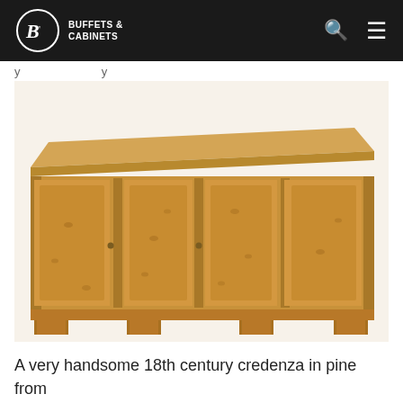BUFFETS & CABINETS
[Figure (photo): A wide pine credenza with four panelled doors and bracket feet, 18th century style, photographed against a white background.]
A very handsome 18th century credenza in pine from Northern Italy. Here we see it on its own. This